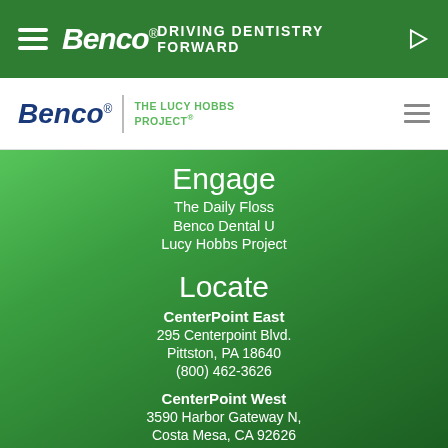Benco® DRIVING DENTISTRY FORWARD
[Figure (logo): Benco® | THE LUCY HOBBS PROJECT® logo with hamburger menu icon]
Engage
The Daily Floss
Benco Dental U
Lucy Hobbs Project
Locate
CenterPoint East
295 Centerpoint Blvd.
Pittston, PA 18640
(800) 462-3626
CenterPoint West
3590 Harbor Gateway N,
Costa Mesa, CA 92626